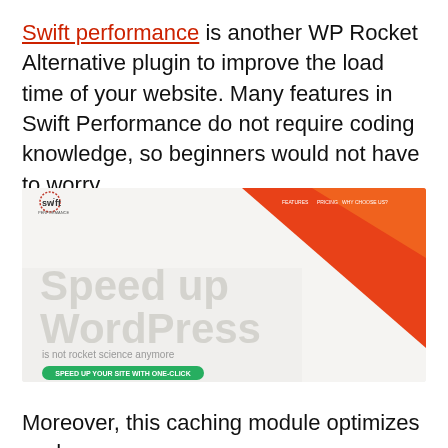Swift performance is another WP Rocket Alternative plugin to improve the load time of your website. Many features in Swift Performance do not require coding knowledge, so beginners would not have to worry.
[Figure (screenshot): Screenshot of the Swift Performance plugin website showing 'Speed up WordPress is not rocket science anymore' headline with a red/orange diagonal design and a green CTA button.]
Moreover, this caching module optimizes cache